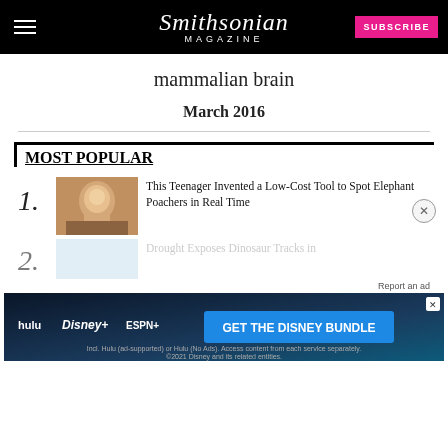Smithsonian MAGAZINE | SUBSCRIBE
mammalian brain
March 2016
MOST POPULAR
1. This Teenager Invented a Low-Cost Tool to Spot Elephant Poachers in Real Time
2. Drought Exposes Dinosaur Tracks in
[Figure (photo): Advertisement banner for Disney Bundle featuring Hulu, Disney+, ESPN+ logos with GET THE DISNEY BUNDLE call to action]